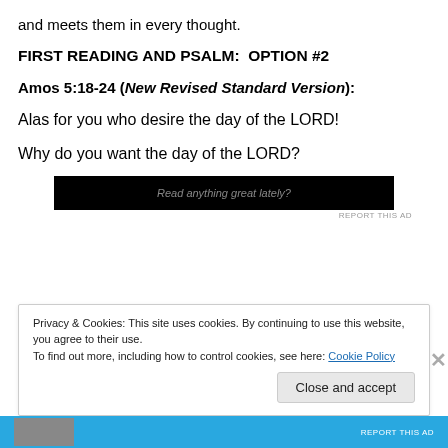and meets them in every thought.
FIRST READING AND PSALM:  OPTION #2
Amos 5:18-24 (New Revised Standard Version):
Alas for you who desire the day of the LORD!
Why do you want the day of the LORD?
[Figure (screenshot): Ad banner with dark background, showing text 'Read anything great lately?' with 'REPORT THIS AD' label below.]
Privacy & Cookies: This site uses cookies. By continuing to use this website, you agree to their use.
To find out more, including how to control cookies, see here: Cookie Policy
Close and accept